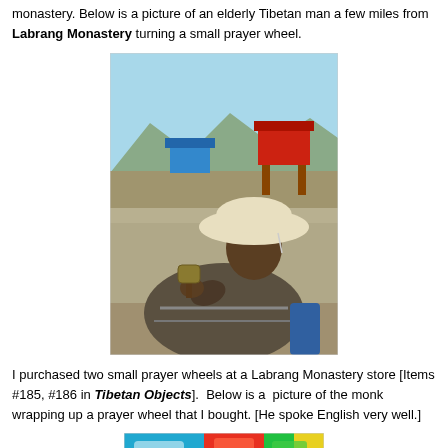monastery. Below is a picture of an elderly Tibetan man a few miles from Labrang Monastery turning a small prayer wheel.
[Figure (photo): An elderly Tibetan man sitting outdoors near Labrang Monastery, wearing a wide-brimmed white hat and a grey striped sweater, holding a small prayer wheel. In the background there are green hills, a clear blue sky, and a red decorative gate structure.]
I purchased two small prayer wheels at a Labrang Monastery store [Items #185, #186 in Tibetan Objects].  Below is a  picture of the monk  wrapping up a prayer wheel that I bought. [He spoke English very well.]
[Figure (photo): Partial view of a monk wrapping up a prayer wheel at a store, with colorful items visible in the background.]